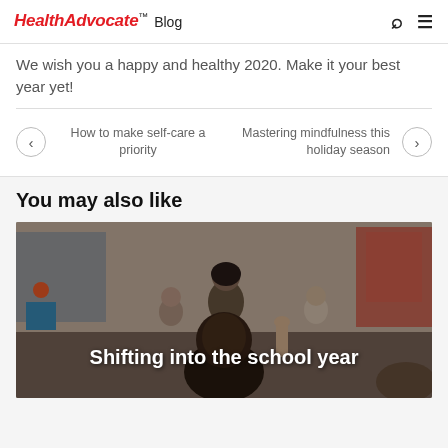HealthAdvocate Blog
We wish you a happy and healthy 2020. Make it your best year yet!
How to make self-care a priority
Mastering mindfulness this holiday season
You may also like
[Figure (photo): Classroom scene with students raising hands, used as thumbnail for 'Shifting into the school year' article]
Shifting into the school year